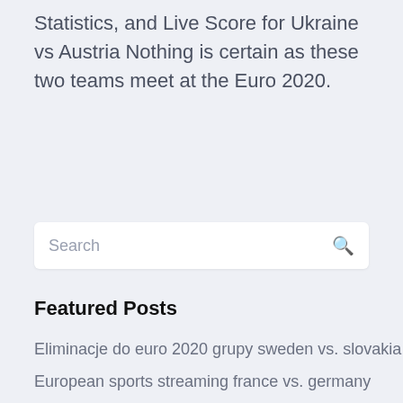Statistics, and Live Score for Ukraine vs Austria Nothing is certain as these two teams meet at the Euro 2020.
[Figure (other): Search input bar with placeholder text 'Search' and a search icon on the right]
Featured Posts
Eliminacje do euro 2020 grupy sweden vs. slovakia
European sports streaming france vs. germany